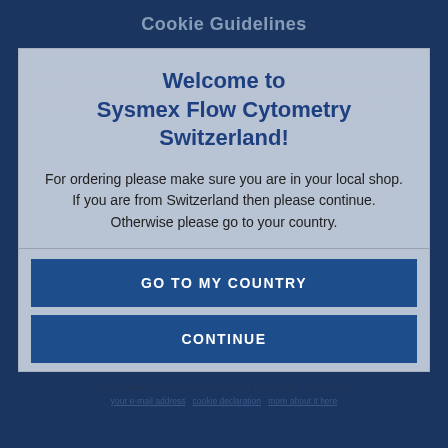Welcome to Sysmex Flow Cytometry Switzerland!
For ordering please make sure you are in your local shop.
If you are from Switzerland then please continue.
Otherwise please go to your country.
GO TO MY COUNTRY
CONTINUE